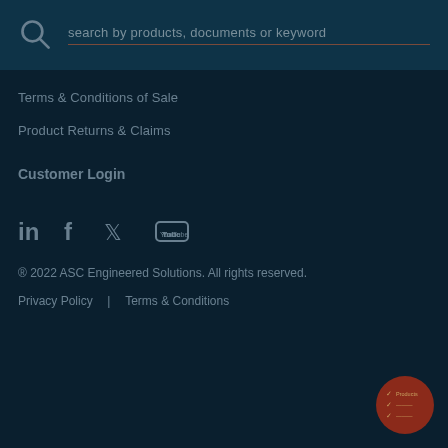[Figure (screenshot): Search bar with magnifying glass icon and placeholder text 'search by products, documents or keyword' on dark teal background]
Terms & Conditions of Sale
Product Returns & Claims
Customer Login
[Figure (infographic): Social media icons row: LinkedIn, Facebook, Twitter, YouTube]
© 2022 ASC Engineered Solutions. All rights reserved.
Privacy Policy   |   Terms & Conditions
[Figure (logo): Dark red/brown circular badge with checklist icon and text lines]